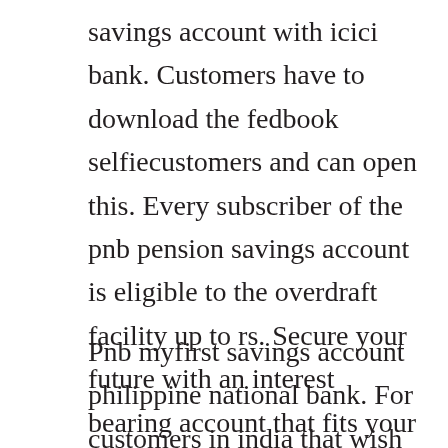savings account with icici bank. Customers have to download the fedbook selfiecustomers and can open this. Every subscriber of the pnb pension savings account is eligible to the overdraft facility up to rs. Secure your future with an interest bearing account that fits your needs. Find the best credit card in india by comparing offers, benefits, features, fee, eligibility and more.
Pnb myfirst savings account philippine national bank. For customers in india that wish to open a savings account and do not